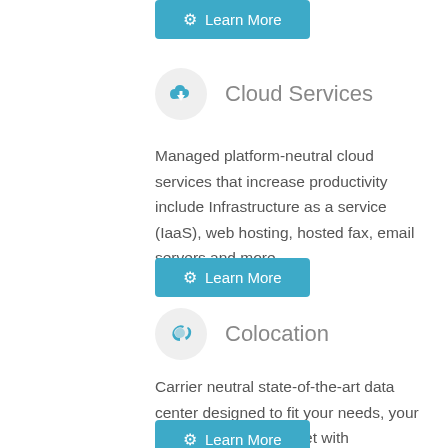[Figure (other): Learn More button with gear icon, teal background]
Cloud Services
Managed platform-neutral cloud services that increase productivity include Infrastructure as a service (IaaS), web hosting, hosted fax, email servers and more.
[Figure (other): Learn More button with gear icon, teal background]
Colocation
Carrier neutral state-of-the-art data center designed to fit your needs, your location and your wallet with redundant N+ power and cooling in our compliant data center.
[Figure (other): Learn More button with gear icon, teal background]